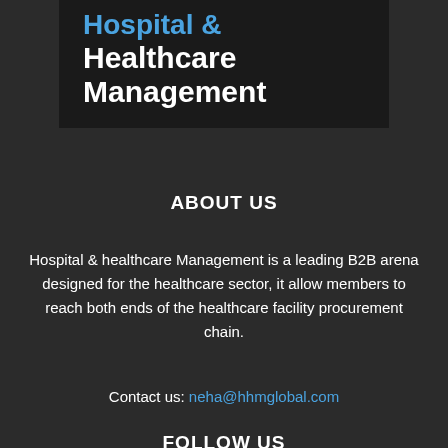Hospital & Healthcare Management
ABOUT US
Hospital & healthcare Management is a leading B2B arena designed for the healthcare sector, it allow members to reach both ends of the healthcare facility procurement chain.
Contact us: neha@hhmglobal.com
FOLLOW US